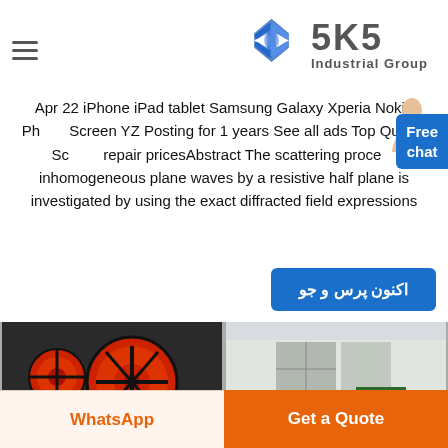[Figure (logo): SKS Industrial Group logo with blue diamond S icon and grey bold SKS text]
Apr 22 iPhone iPad tablet Samsung Galaxy Xperia Nokia Phone Screen YZ Posting for 1 years See all ads Top Quality Screen repair pricesAbstract The scattering process inhomogeneous plane waves by a resistive half plane is investigated by using the exact diffracted field expressions
[Figure (illustration): Free chat button with person avatar, blue background]
[Figure (other): Blue button with Persian text: اکنون پرس و جو]
[Figure (photo): Industrial machinery photo on the left showing large circular wheels/flywheels]
[Figure (photo): Industrial facility photo on the right showing green equipment outside a building]
WhatsApp
Get a Quote